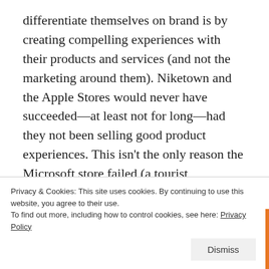differentiate themselves on brand is by creating compelling experiences with their products and services (and not the marketing around them). Niketown and the Apple Stores would never have succeeded—at least not for long—had they not been selling good product experiences. This isn't the only reason the Microsoft store failed (a tourist destination for buying Microsoft-branded shirts and stationery really wasn't meeting anyone's needs), but it was part of it. Gateway, in comparison, has been much more successful, though they still aren't
Privacy & Cookies: This site uses cookies. By continuing to use this website, you agree to their use.
To find out more, including how to control cookies, see here: Privacy Policy